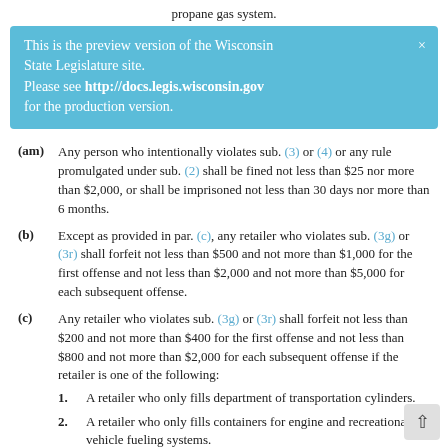propane gas system.
This is the preview version of the Wisconsin State Legislature site. Please see http://docs.legis.wisconsin.gov for the production version.
(am) Any person who intentionally violates sub. (3) or (4) or any rule promulgated under sub. (2) shall be fined not less than $25 nor more than $2,000, or shall be imprisoned not less than 30 days nor more than 6 months.
(b) Except as provided in par. (c), any retailer who violates sub. (3g) or (3r) shall forfeit not less than $500 and not more than $1,000 for the first offense and not less than $2,000 and not more than $5,000 for each subsequent offense.
(c) Any retailer who violates sub. (3g) or (3r) shall forfeit not less than $200 and not more than $400 for the first offense and not less than $800 and not more than $2,000 for each subsequent offense if the retailer is one of the following:
1. A retailer who only fills department of transportation cylinders.
2. A retailer who only fills containers for engine and recreational vehicle fueling systems.
(cg) Paragraphs (b) and (c) do not apply to intentional violations of subs. (3g) or (3r).